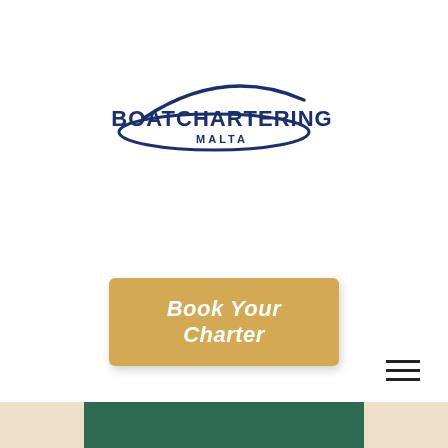[Figure (logo): BoatChartering Malta logo — dark navy blue text with stylized boat hull arc above, oval swoosh below the text]
[Figure (other): Golden/tan rounded rectangle button with italic bold white text reading 'Book Your Charter']
[Figure (other): Hamburger menu icon (three horizontal dark lines) in upper-right area]
[Figure (other): Bottom decorative bar: peach/beige background with dark green centered rectangle]